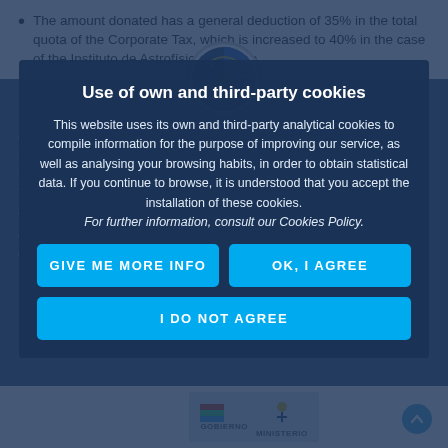The amount donated has a general deduction of 35% in the total quota of the Corporate Tax, which is increased to 40% in the case of the Instituto de Astrofísica de Canarias.
Loyalty on donations: 35% (instead of the general 40%) deduction may be applied provided that donations of the same or greater amount have been made to the same entity in the two immediately preceding tax periods.
The deduction is limited to 10% of the taxable base for the tax period.
Amounts in excess of this limit may be applied in the tax periods ending in the 10 immediate and
Use of own and third-party cookies
This website uses its own and third-party analytical cookies to compile information for the purpose of improving our service, as well as analysing your browsing habits, in order to obtain statistical data. If you continue to browse, it is understood that you accept the installation of these cookies. For further information, consult our Cookies Policy.
GIVE ME MORE INFO
OK, I AGREE
I DO NOT AGREE
[Figure (logo): Circular logo of Instituto de Astrofísica de Canarias (IAC) showing a night sky with stars on blue background]